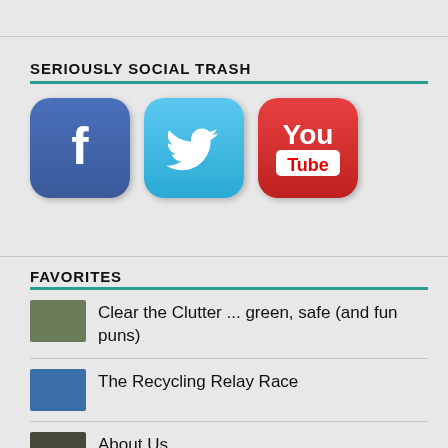SERIOUSLY SOCIAL TRASH
[Figure (illustration): Three social media icons: Facebook (blue rounded square with f), Twitter (light blue rounded square with bird), YouTube (red rounded square with You Tube text)]
FAVORITES
Clear the Clutter ... green, safe (and fun puns)
The Recycling Relay Race
About Us